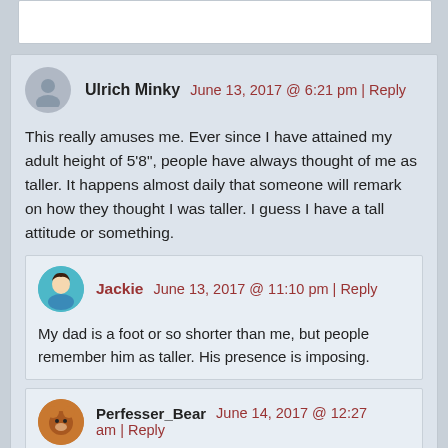[partial comment stub at top]
Ulrich Minky   June 13, 2017 @ 6:21 pm | Reply
This really amuses me. Ever since I have attained my adult height of 5'8", people have always thought of me as taller. It happens almost daily that someone will remark on how they thought I was taller. I guess I have a tall attitude or something.
Jackie   June 13, 2017 @ 11:10 pm | Reply
My dad is a foot or so shorter than me, but people remember him as taller. His presence is imposing.
Perfesser_Bear   June 14, 2017 @ 12:27 am | Reply
Years ago, a guy about my own age came to work at the